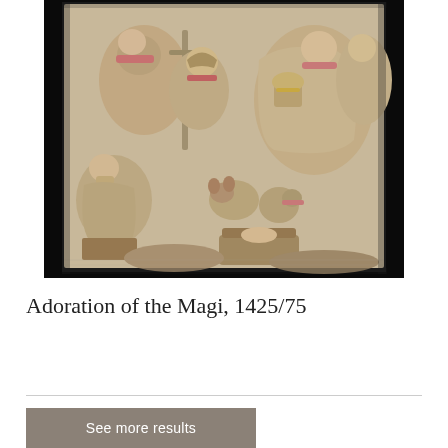[Figure (photo): A medieval stone or alabaster relief sculpture depicting the Adoration of the Magi scene, showing carved figures with polychrome (pink/red) accents including robed Magi presenting gifts, the Christ child, Mary, animals, and attendants in a Nativity setting. Dark background.]
Adoration of the Magi, 1425/75